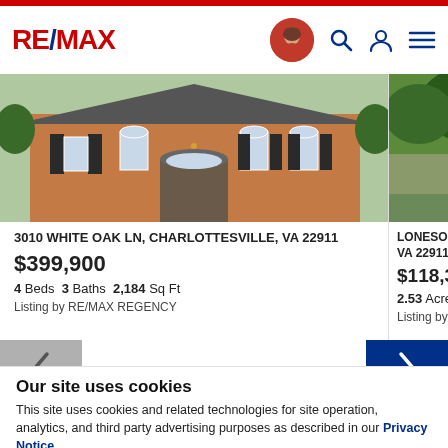RE/MAX
[Figure (photo): Brick house with dark shutters and arched windows at 3010 White Oak Ln, Charlottesville VA]
3010 WHITE OAK LN, CHARLOTTESVILLE, VA 22911
$399,900
4 Beds  3 Baths  2,184 Sq Ft
Listing by RE/MAX REGENCY
[Figure (photo): Second listing photo partially visible - LONESOME VA 22911]
LONESOME VA 22911
$118,300
2.53 Acres
Listing by RE
Our site uses cookies
This site uses cookies and related technologies for site operation, analytics, and third party advertising purposes as described in our Privacy Notice .
ACCEPT